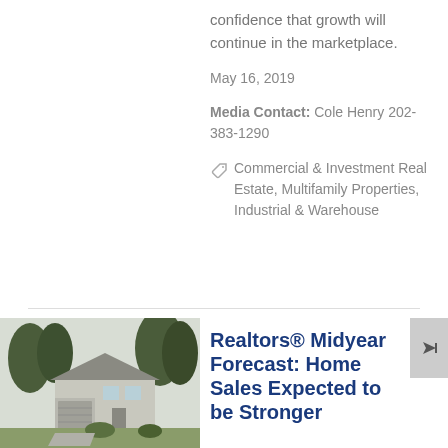confidence that growth will continue in the marketplace.
May 16, 2019
Media Contact: Cole Henry 202-383-1290
Commercial & Investment Real Estate, Multifamily Properties, Industrial & Warehouse
[Figure (photo): A suburban house with trees and garage, photo used as article thumbnail]
Realtors® Midyear Forecast: Home Sales Expected to be Stronger